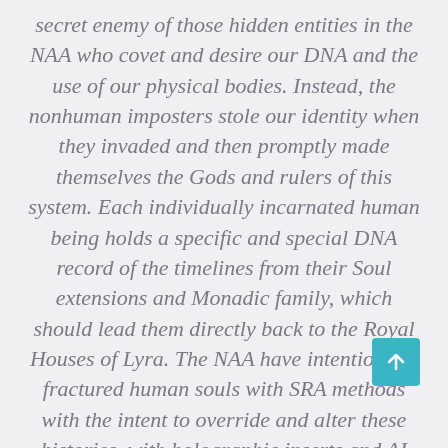secret enemy of those hidden entities in the NAA who covet and desire our DNA and the use of our physical bodies. Instead, the nonhuman imposters stole our identity when they invaded and then promptly made themselves the Gods and rulers of this system. Each individually incarnated human being holds a specific and special DNA record of the timelines from their Soul extensions and Monadic family, which should lead them directly back to the Royal Houses of Lyra. The NAA have intentionally fractured human souls with SRA methods with the intent to override and alter these histories, with holographic inserts and AI technology